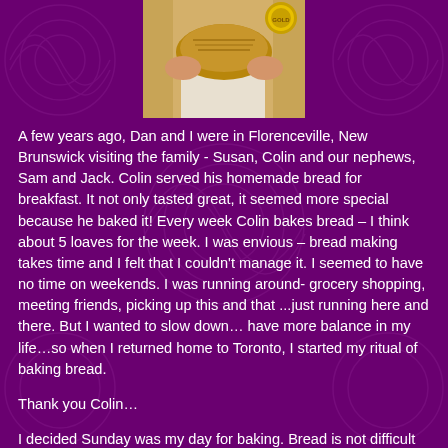[Figure (photo): Person holding a loaf of bread with an award medallion/seal visible in the upper right corner of the photo]
A few years ago, Dan and I were in Florenceville, New Brunswick visiting the family - Susan, Colin and our nephews, Sam and Jack. Colin served his homemade bread for breakfast. It not only tasted great, it seemed more special because he baked it! Every week Colin bakes bread – I think about 5 loaves for the week. I was envious – bread making takes time and I felt that I couldn't manage it. I seemed to have no time on weekends. I was running around- grocery shopping, meeting friends, picking up this and that ...just running here and there. But I wanted to slow down… have more balance in my life…so when I returned home to Toronto, I started my ritual of baking bread.
Thank you Colin…
I decided Sunday was my day for baking. Bread is not difficult to make, but you need to be around for the rising,